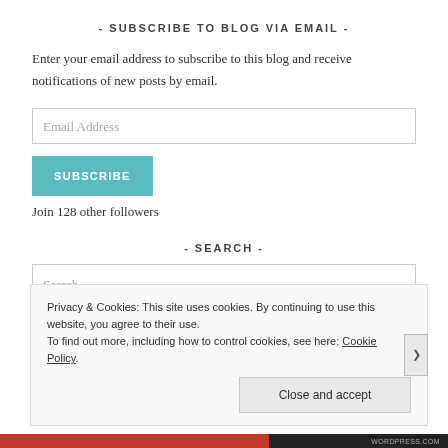- SUBSCRIBE TO BLOG VIA EMAIL -
Enter your email address to subscribe to this blog and receive notifications of new posts by email.
Email Address
SUBSCRIBE
Join 128 other followers
- SEARCH -
Search …
Privacy & Cookies: This site uses cookies. By continuing to use this website, you agree to their use.
To find out more, including how to control cookies, see here: Cookie Policy
Close and accept